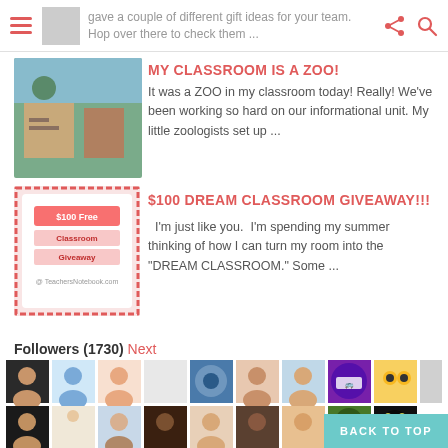gave a couple of different gift ideas for your team. Hop over there to check them ...
MY CLASSROOM IS A ZOO!
It was a ZOO in my classroom today! Really! We've been working so hard on our informational unit. My little zoologists set up ...
$100 DREAM CLASSROOM GIVEAWAY!!!
I'm just like you.  I'm spending my summer thinking of how I can turn my room into the "DREAM CLASSROOM." Some ...
Followers (1730) Next
[Figure (photo): Grid of follower avatar profile pictures, two rows]
[Figure (screenshot): Back to top button in teal]